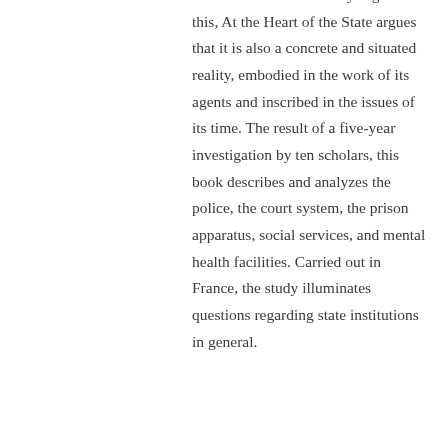neutral bureaucratic entity. Against this, At the Heart of the State argues that it is also a concrete and situated reality, embodied in the work of its agents and inscribed in the issues of its time. The result of a five-year investigation by ten scholars, this book describes and analyzes the police, the court system, the prison apparatus, social services, and mental health facilities. Carried out in France, the study illuminates questions regarding state institutions in general.